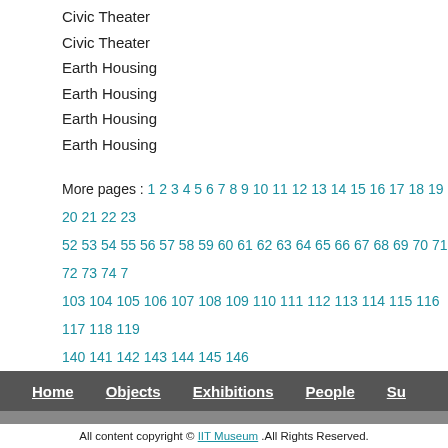Civic Theater
Civic Theater
Earth Housing
Earth Housing
Earth Housing
Earth Housing
More pages : 1 2 3 4 5 6 7 8 9 10 11 12 13 14 15 16 17 18 19 20 21 22 23 ... 52 53 54 55 56 57 58 59 60 61 62 63 64 65 66 67 68 69 70 71 72 73 74 7... 103 104 105 106 107 108 109 110 111 112 113 114 115 116 117 118 119... 140 141 142 143 144 145 146
Home  Objects  Exhibitions  People  Su...
Collections use policies , services and fees . Please contact us with any comments or questions
All content copyright © [IIT Museum] .All Rights Reserved.